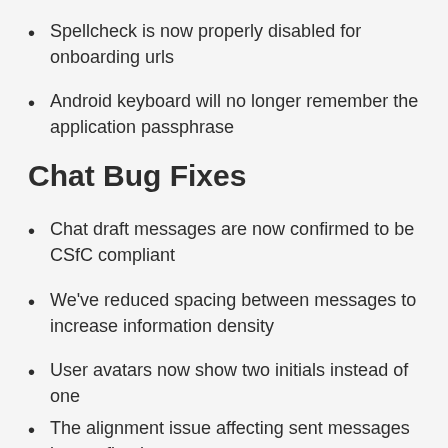Spellcheck is now properly disabled for onboarding urls
Android keyboard will no longer remember the application passphrase
Chat Bug Fixes
Chat draft messages are now confirmed to be CSfC compliant
We've reduced spacing between messages to increase information density
User avatars now show two initials instead of one
The alignment issue affecting sent messages is now fixed
Users can no longer send empty messages
The High Water Mark (unread messages indicator on the messages list) and messages now remain always